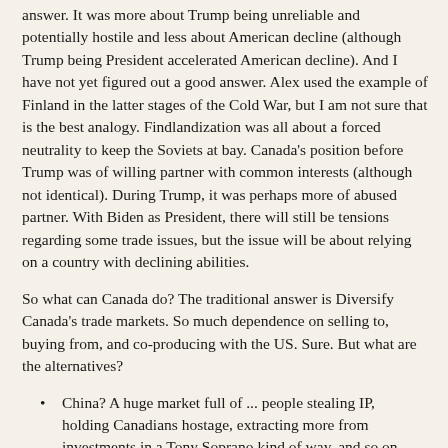answer.  It was more about Trump being unreliable and potentially hostile and less about American decline (although Trump being President accelerated American decline).  And I have not yet figured out a good answer.  Alex used the example of Finland in the latter stages of the Cold War, but I am not sure that is the best analogy.  Findlandization was all about a forced neutrality to keep the Soviets at bay.  Canada's position before Trump was of willing partner with common interests (although not identical).  During Trump, it was perhaps more of abused partner.  With Biden as President, there will still be tensions regarding some trade issues, but the issue will be about relying on a country with declining abilities.
So what can Canada do?  The traditional answer is Diversify Canada's trade markets.  So much dependence on selling to, buying from, and co-producing with the US.  Sure.  But what are the alternatives?
China?  A huge market full of ... people stealing IP, holding Canadians hostage, extracting more from investments in a Tony Soprano kind of way, and so on.  Not great.